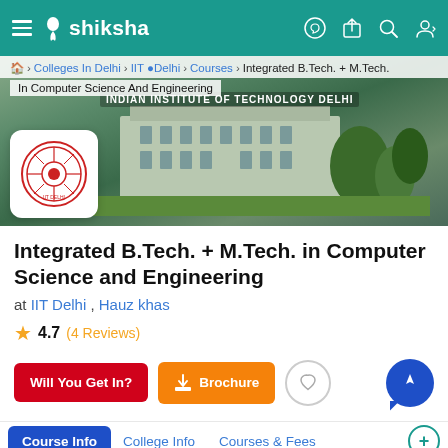shiksha
Colleges In Delhi > IIT Delhi > Courses > Integrated B.Tech. + M.Tech. In Computer Science And Engineering
[Figure (photo): IIT Delhi campus building exterior with trees and greenery, with IIT Delhi logo/seal in a white rounded square box overlay]
Integrated B.Tech. + M.Tech. in Computer Science and Engineering
at IIT Delhi , Hauz khas
4.7 (4 Reviews)
Will You Get In? | Brochure
Course Info | College Info | Courses & Fees | Reviews | Admissions | Placements | Cut-Offs